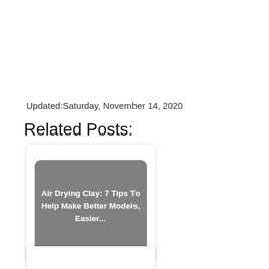Updated:Saturday, November 14, 2020
Related Posts:
[Figure (other): Card with gray rounded rectangle overlay containing bold white text: Air Drying Clay: 7 Tips To Help Make Better Models, Easier...]
[Figure (other): Second related post card, partially visible at bottom of page]